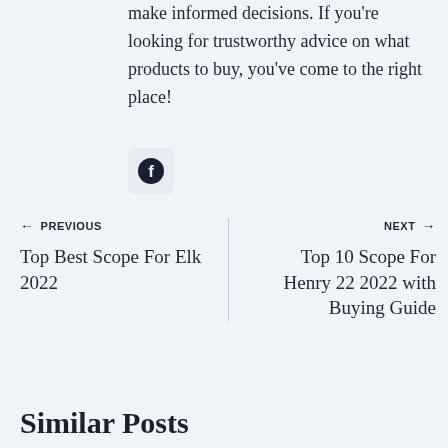make informed decisions. If you're looking for trustworthy advice on what products to buy, you've come to the right place!
[Figure (logo): Facebook icon button with dark circle and 'f' logo on a light grey rounded square background]
← PREVIOUS
Top Best Scope For Elk 2022
NEXT →
Top 10 Scope For Henry 22 2022 with Buying Guide
Similar Posts